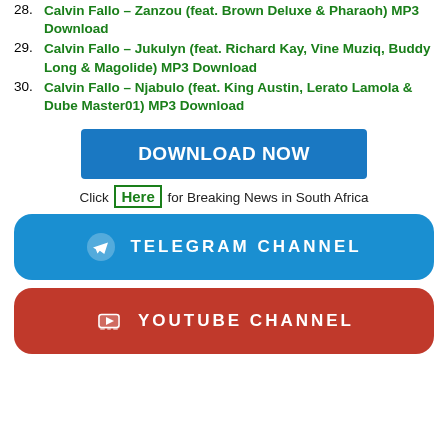28. Calvin Fallo – Zanzou (feat. Brown Deluxe & Pharaoh) MP3 Download
29. Calvin Fallo – Jukulyn (feat. Richard Kay, Vine Muziq, Buddy Long & Magolide) MP3 Download
30. Calvin Fallo – Njabulo (feat. King Austin, Lerato Lamola & Dube Master01) MP3 Download
[Figure (other): Blue DOWNLOAD NOW button]
Click Here for Breaking News in South Africa
[Figure (other): Blue rounded Telegram Channel button with Telegram icon]
[Figure (other): Red rounded YouTube Channel button with YouTube icon]